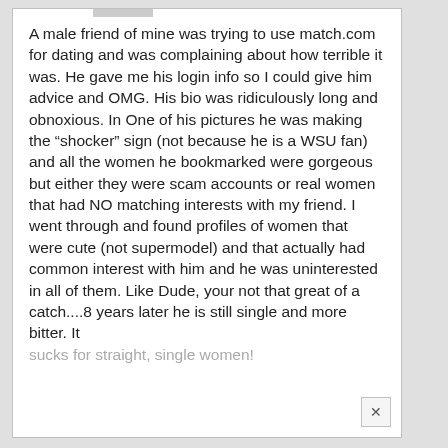A male friend of mine was trying to use match.com for dating and was complaining about how terrible it was. He gave me his login info so I could give him advice and OMG. His bio was ridiculously long and obnoxious. In One of his pictures he was making the "shocker" sign (not because he is a WSU fan) and all the women he bookmarked were gorgeous but either they were scam accounts or real women that had NO matching interests with my friend. I went through and found profiles of women that were cute (not supermodel) and that actually had common interest with him and he was uninterested in all of them. Like Dude, your not that great of a catch....8 years later he is still single and more bitter. It sucks for straight, single women!